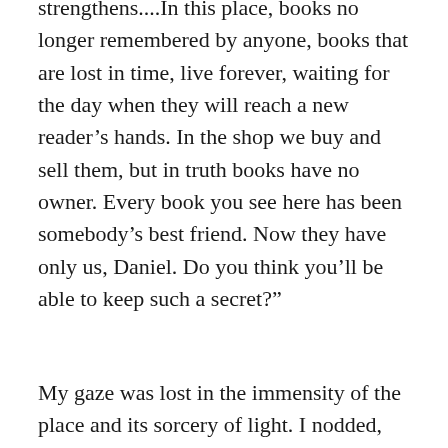strengthens....In this place, books no longer remembered by anyone, books that are lost in time, live forever, waiting for the day when they will reach a new reader’s hands. In the shop we buy and sell them, but in truth books have no owner. Every book you see here has been somebody’s best friend. Now they have only us, Daniel. Do you think you’ll be able to keep such a secret?”
My gaze was lost in the immensity of the place and its sorcery of light. I nodded, and my father smiled.
Daniel chooses a book, The Shadow of the